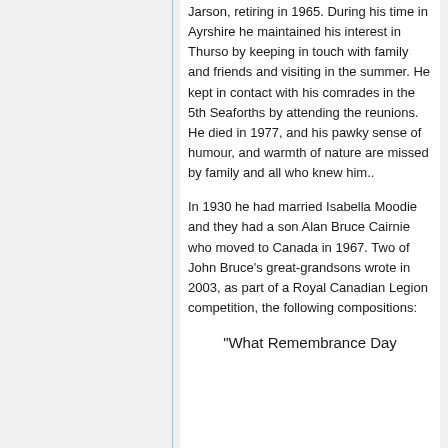Jarson, retiring in 1965. During his time in Ayrshire he maintained his interest in Thurso by keeping in touch with family and friends and visiting in the summer. He kept in contact with his comrades in the 5th Seaforths by attending the reunions. He died in 1977, and his pawky sense of humour, and warmth of nature are missed by family and all who knew him..
In 1930 he had married Isabella Moodie and they had a son Alan Bruce Cairnie who moved to Canada in 1967. Two of John Bruce's great-grandsons wrote in 2003, as part of a Royal Canadian Legion competition, the following compositions:
"What Remembrance Day Means to Me"